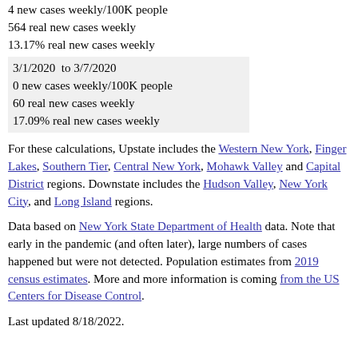4 new cases weekly/100K people
564 real new cases weekly
13.17% real new cases weekly
3/1/2020  to 3/7/2020
0 new cases weekly/100K people
60 real new cases weekly
17.09% real new cases weekly
For these calculations, Upstate includes the Western New York, Finger Lakes, Southern Tier, Central New York, Mohawk Valley and Capital District regions. Downstate includes the Hudson Valley, New York City, and Long Island regions.
Data based on New York State Department of Health data. Note that early in the pandemic (and often later), large numbers of cases happened but were not detected. Population estimates from 2019 census estimates. More and more information is coming from the US Centers for Disease Control.
Last updated 8/18/2022.